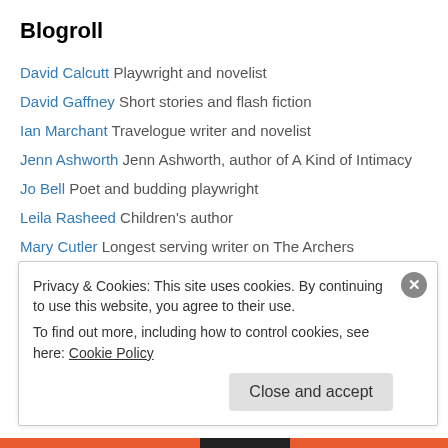Blogroll
David Calcutt Playwright and novelist
David Gaffney Short stories and flash fiction
Ian Marchant Travelogue writer and novelist
Jenn Ashworth Jenn Ashworth, author of A Kind of Intimacy
Jo Bell Poet and budding playwright
Leila Rasheed Children's author
Mary Cutler Longest serving writer on The Archers
Mil Millington Writer
Stephanie Dale Author of plays for stage and radio
Stuart Maconie Writer and BBC broadcaster
The Map of Marvels
Privacy & Cookies: This site uses cookies. By continuing to use this website, you agree to their use. To find out more, including how to control cookies, see here: Cookie Policy